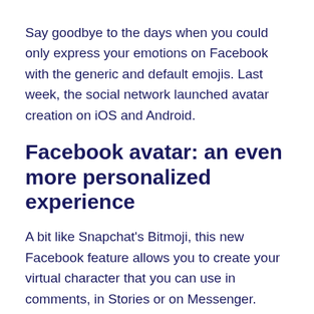Say goodbye to the days when you could only express your emotions on Facebook with the generic and default emojis. Last week, the social network launched avatar creation on iOS and Android.
Facebook avatar: an even more personalized experience
A bit like Snapchat's Bitmoji, this new Facebook feature allows you to create your virtual character that you can use in comments, in Stories or on Messenger.
With this novelty, the firm of Mark Zuckerberg